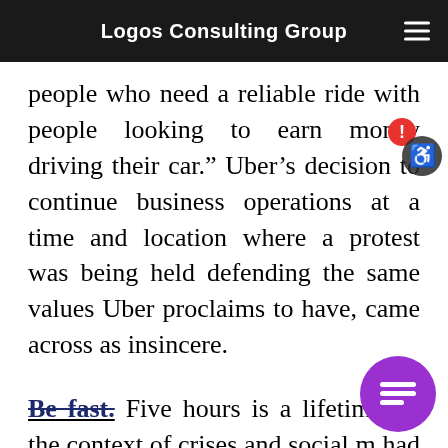Logos Consulting Group
people who need a reliable ride with people looking to earn money driving their car.” Uber’s decision to continue business operations at a time and location where a protest was being held defending the same values Uber proclaims to have, came across as insincere.
Be fast. Five hours is a lifetime wi the context of crises and social m had Uber been more timely in